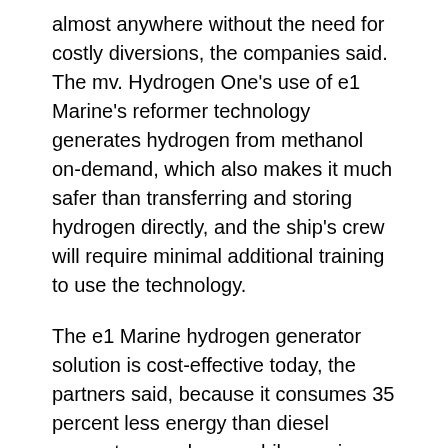almost anywhere without the need for costly diversions, the companies said. The mv. Hydrogen One's use of e1 Marine's reformer technology generates hydrogen from methanol on-demand, which also makes it much safer than transferring and storing hydrogen directly, and the ship's crew will require minimal additional training to use the technology.
The e1 Marine hydrogen generator solution is cost-effective today, the partners said, because it consumes 35 percent less energy than diesel generators, and even while running on standard methanol the hydrogen generator/fuel cell set produces zero particulates, zero NOX, zero SOX emissions and 28 percent less CO2 than a diesel generator. It is currently available in power...